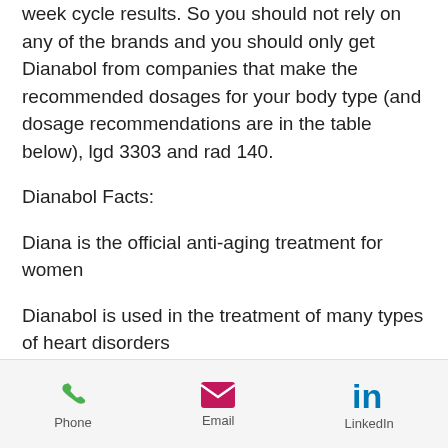week cycle results. So you should not rely on any of the brands and you should only get Dianabol from companies that make the recommended dosages for your body type (and dosage recommendations are in the table below), lgd 3303 and rad 140.
Dianabol Facts:
Diana is the official anti-aging treatment for women
Dianabol is used in the treatment of many types of heart disorders
Dianabol is used in the treatment of cancer
Dianabol is used in the treatment of...
Phone  Email  LinkedIn